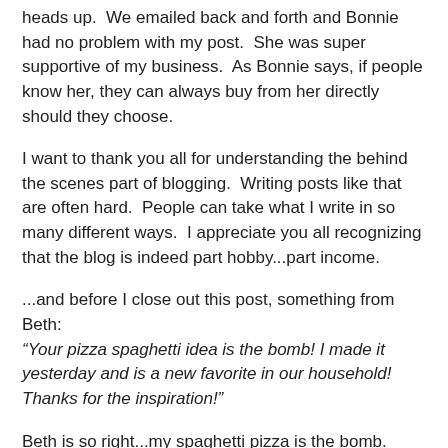heads up.  We emailed back and forth and Bonnie had no problem with my post.  She was super supportive of my business.  As Bonnie says, if people know her, they can always buy from her directly should they choose.
I want to thank you all for understanding the behind the scenes part of blogging.  Writing posts like that are often hard.  People can take what I write in so many different ways.  I appreciate you all recognizing that the blog is indeed part hobby...part income.
...and before I close out this post, something from Beth: “Your pizza spaghetti idea is the bomb! I made it yesterday and is a new favorite in our household! Thanks for the inspiration!”
Beth is so right...my spaghetti pizza is the bomb.  HERE is the recipe if you missed it.  You don’t have to wonder what to make for supper, just give the recipe a try!